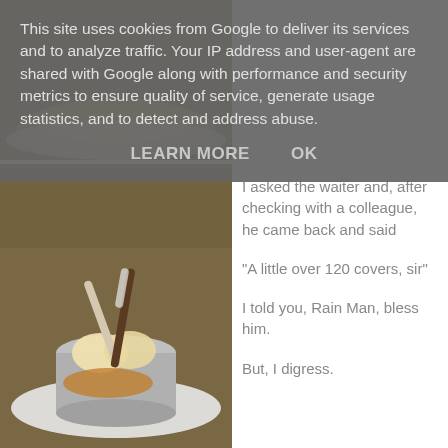This site uses cookies from Google to deliver its services and to analyze traffic. Your IP address and user-agent are shared with Google along with performance and security metrics to ensure quality of service, generate usage statistics, and to detect and address abuse.
LEARN MORE    OK
[Figure (photo): Close-up photo of a yellow/golden food item on a white plate, possibly a dessert or egg dish]
I asked the waiter and, after checking with a colleague, he came back and said
“A little over 120 covers, sir”
I told you, Rain Man, bless him.
But, I digress.
[Figure (photo): Photo of ice cream in a metallic cup with wafer rolls/biscuit sticks on top, served on a white plate]